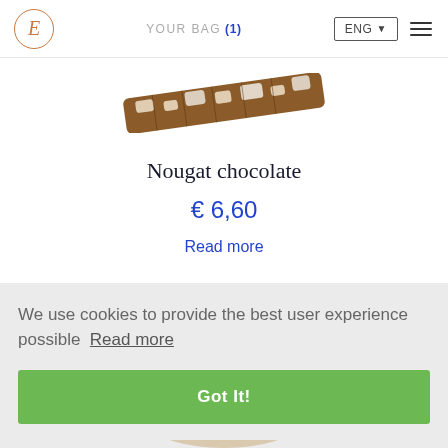E  YOUR BAG (1)  ENG  ☰
[Figure (photo): Partial view of a nougat chocolate bar, seen from above, on a white background]
Nougat chocolate
€ 6,60
Read more
We use cookies to provide the best user experience possible  Read more
Got It!
[Figure (photo): Bottom portion of a nougat chocolate product partially visible at the bottom of the page]